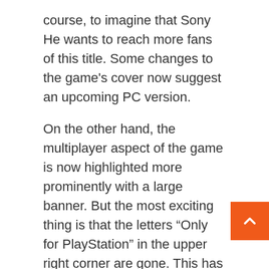course, to imagine that Sony He wants to reach more fans of this title. Some changes to the game's cover now suggest an upcoming PC version.
On the other hand, the multiplayer aspect of the game is now highlighted more prominently with a large banner. But the most exciting thing is that the letters “Only for PlayStation” in the upper right corner are gone. This has also happened previously with many titles before they launched for PC.
PS5 version of Ghost of Tsushima
But these changes may also indicate an upcoming release for PlayStation 5. Also in this case far away Sony Characters from other games have already been